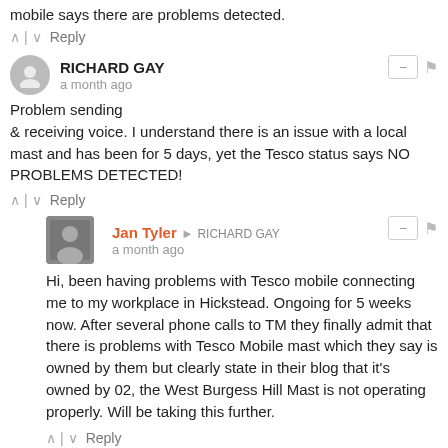mobile says there are problems detected.
^ | v   Reply
RICHARD GAY
a month ago
Problem sending
& receiving voice. I understand there is an issue with a local mast and has been for 5 days, yet the Tesco status says NO PROBLEMS DETECTED!
^ | v   Reply
Jan Tyler → RICHARD GAY
a month ago
Hi, been having problems with Tesco mobile connecting me to my workplace in Hickstead. Ongoing for 5 weeks now. After several phone calls to TM they finally admit that there is problems with Tesco Mobile mast which they say is owned by them but clearly state in their blog that it's owned by 02, the West Burgess Hill Mast is not operating properly. Will be taking this further.
^ | v   Reply